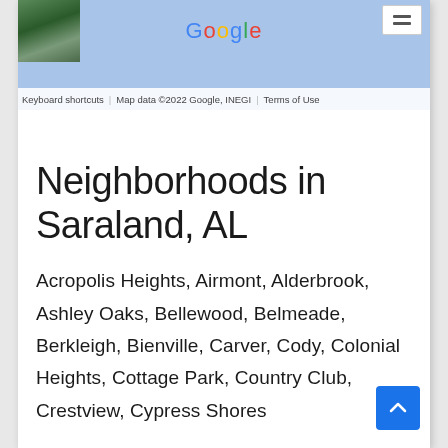[Figure (screenshot): Google Maps embed showing a map view with Google logo, map thumbnail image, Keyboard shortcuts, Map data ©2022 Google INEGI, and Terms of Use footer bar. A menu/layer button appears in the top right.]
Neighborhoods in Saraland, AL
Acropolis Heights, Airmont, Alderbrook, Ashley Oaks, Bellewood, Belmeade, Berkleigh, Bienville, Carver, Cody, Colonial Heights, Cottage Park, Country Club, Crestview, Cypress Shores